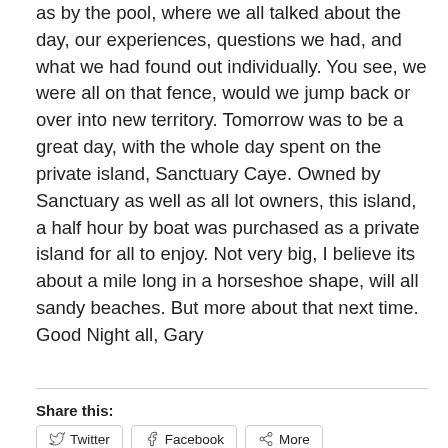as by the pool, where we all talked about the day, our experiences, questions we had, and what we had found out individually. You see, we were all on that fence, would we jump back or over into new territory. Tomorrow was to be a great day, with the whole day spent on the private island, Sanctuary Caye. Owned by Sanctuary as well as all lot owners, this island, a half hour by boat was purchased as a private island for all to enjoy. Not very big, I believe its about a mile long in a horseshoe shape, will all sandy beaches. But more about that next time. Good Night all, Gary
Share this:
Twitter  Facebook  More